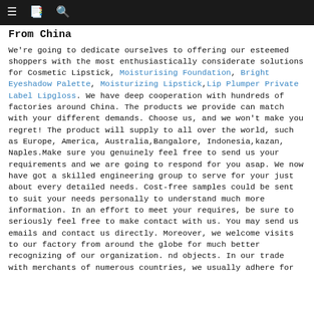≡  📋  🔍
From China
We're going to dedicate ourselves to offering our esteemed shoppers with the most enthusiastically considerate solutions for Cosmetic Lipstick, Moisturising Foundation, Bright Eyeshadow Palette, Moisturizing Lipstick, Lip Plumper Private Label Lipgloss. We have deep cooperation with hundreds of factories around China. The products we provide can match with your different demands. Choose us, and we won't make you regret! The product will supply to all over the world, such as Europe, America, Australia,Bangalore, Indonesia,kazan, Naples.Make sure you genuinely feel free to send us your requirements and we are going to respond for you asap. We now have got a skilled engineering group to serve for your just about every detailed needs. Cost-free samples could be sent to suit your needs personally to understand much more information. In an effort to meet your requires, be sure to seriously feel free to make contact with us. You may send us emails and contact us directly. Moreover, we welcome visits to our factory from around the globe for much better recognizing of our organization. nd objects. In our trade with merchants of numerous countries, we usually adhere for